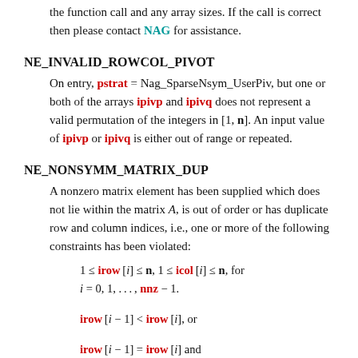the function call and any array sizes. If the call is correct then please contact NAG for assistance.
NE_INVALID_ROWCOL_PIVOT
On entry, pstrat = Nag_SparseNsym_UserPiv, but one or both of the arrays ipivp and ipivq does not represent a valid permutation of the integers in [1, n]. An input value of ipivp or ipivq is either out of range or repeated.
NE_NONSYMM_MATRIX_DUP
A nonzero matrix element has been supplied which does not lie within the matrix A, is out of order or has duplicate row and column indices, i.e., one or more of the following constraints has been violated: